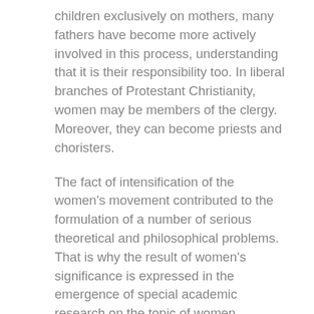children exclusively on mothers, many fathers have become more actively involved in this process, understanding that it is their responsibility too. In liberal branches of Protestant Christianity, women may be members of the clergy. Moreover, they can become priests and choristers.
The fact of intensification of the women's movement contributed to the formulation of a number of serious theoretical and philosophical problems. That is why the result of women's significance is expressed in the emergence of special academic research on the topic of women, entailing the establishment of departments of universities, centers, and programs specializing in this subject. "The close relationship between contemporary feminist politics and historical practice means that women's history is still able to excite enthusiasm and is constantly changing, developing new areas to research and new concepts and approaches with which to